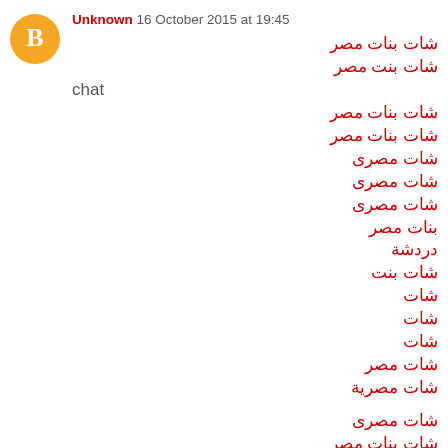Unknown  16 October 2015 at 19:45
شات بنات مصر
شات بنت مصر
chat
شات بنات مصر
شات بنات مصر
شات مصرى
شات مصرى
شات مصرى
بنات مصر
دردشة
شات بنت
شات
شات
شات
شات مصر
شات مصرية
شات مصرى
شات بنات مصر
شات مصرى
شات بنات مصر